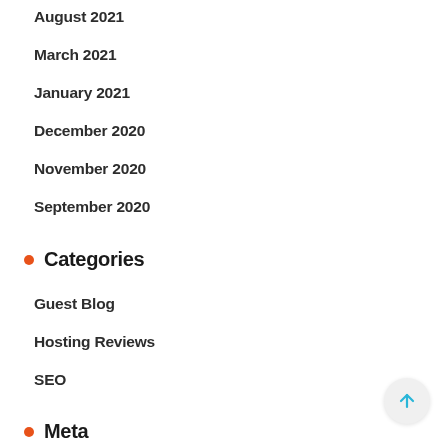August 2021
March 2021
January 2021
December 2020
November 2020
September 2020
Categories
Guest Blog
Hosting Reviews
SEO
Meta